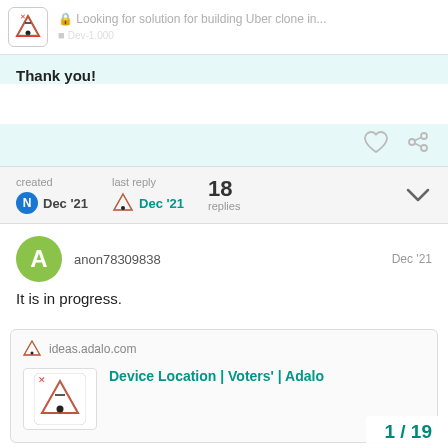Looking for solution for building Uber clone in...
Thank you!
created Dec '21   last reply Dec '21   18 replies
anon78309838   Dec '21
It is in progress.
ideas.adalo.com
Device Location | Voters | Adalo
1 / 19